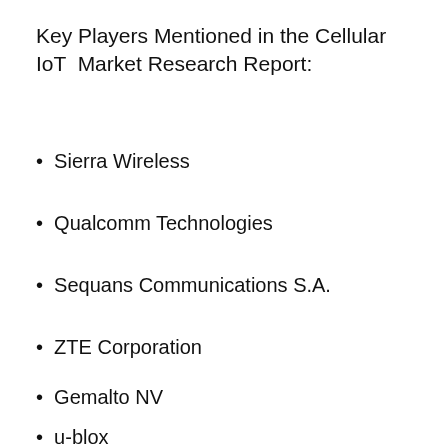Key Players Mentioned in the Cellular IoT Market Research Report:
Sierra Wireless
Qualcomm Technologies
Sequans Communications S.A.
ZTE Corporation
Gemalto NV
u-blox